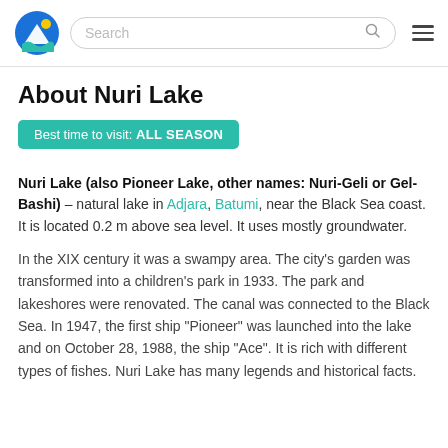Search
About Nuri Lake
Best time to visit: ALL SEASON
Nuri Lake (also Pioneer Lake, other names: Nuri-Geli or Gel-Bashi) – natural lake in Adjara, Batumi, near the Black Sea coast. It is located 0.2 m above sea level. It uses mostly groundwater.
In the XIX century it was a swampy area. The city's garden was transformed into a children's park in 1933. The park and lakeshores were renovated. The canal was connected to the Black Sea. In 1947, the first ship "Pioneer" was launched into the lake and on October 28, 1988, the ship "Ace". It is rich with different types of fishes. Nuri Lake has many legends and historical facts.